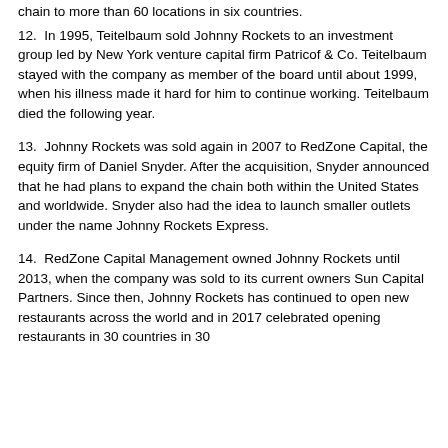chain to more than 60 locations in six countries.
12.  In 1995, Teitelbaum sold Johnny Rockets to an investment group led by New York venture capital firm Patricof & Co. Teitelbaum stayed with the company as member of the board until about 1999, when his illness made it hard for him to continue working. Teitelbaum died the following year.
13.  Johnny Rockets was sold again in 2007 to RedZone Capital, the equity firm of Daniel Snyder. After the acquisition, Snyder announced that he had plans to expand the chain both within the United States and worldwide. Snyder also had the idea to launch smaller outlets under the name Johnny Rockets Express.
14.  RedZone Capital Management owned Johnny Rockets until 2013, when the company was sold to its current owners Sun Capital Partners. Since then, Johnny Rockets has continued to open new restaurants across the world and in 2017 celebrated opening restaurants in 30 countries in 30